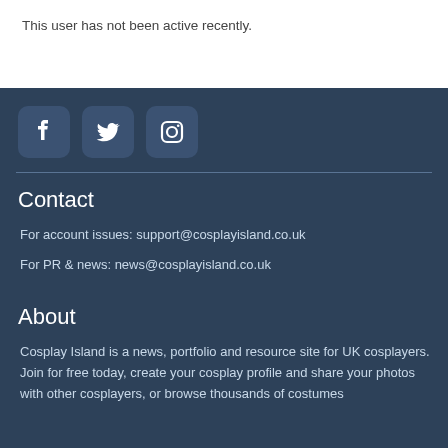This user has not been active recently.
[Figure (illustration): Social media icons: Facebook, Twitter, Instagram — white icons on dark rounded square backgrounds]
Contact
For account issues: support@cosplayisland.co.uk
For PR & news: news@cosplayisland.co.uk
About
Cosplay Island is a news, portfolio and resource site for UK cosplayers. Join for free today, create your cosplay profile and share your photos with other cosplayers, or browse thousands of costumes